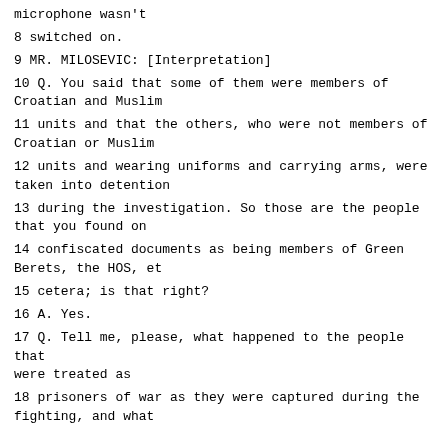microphone wasn't
8 switched on.
9 MR. MILOSEVIC: [Interpretation]
10 Q. You said that some of them were members of Croatian and Muslim
11 units and that the others, who were not members of Croatian or Muslim
12 units and wearing uniforms and carrying arms, were taken into detention
13 during the investigation. So those are the people that you found on
14 confiscated documents as being members of Green Berets, the HOS, et
15 cetera; is that right?
16 A. Yes.
17 Q. Tell me, please, what happened to the people that were treated as
18 prisoners of war as they were captured during the fighting, and what